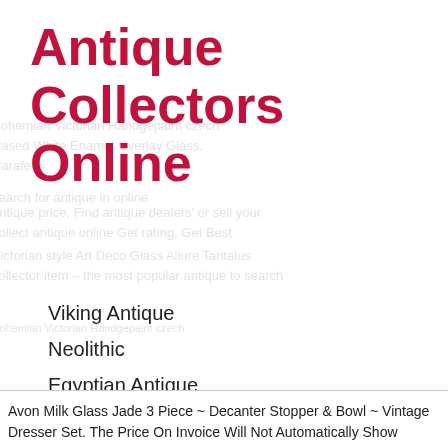Antique Collectors Online
Viking Antique
Neolithic
Egyptian Antique
Paleolithic
Islamic Antique
Medieval Antique
Avon Milk Glass Jade 3 Piece ~ Decanter Stopper & Bowl ~ Vintage Dresser Set. The Price On Invoice Will Not Automatically Show